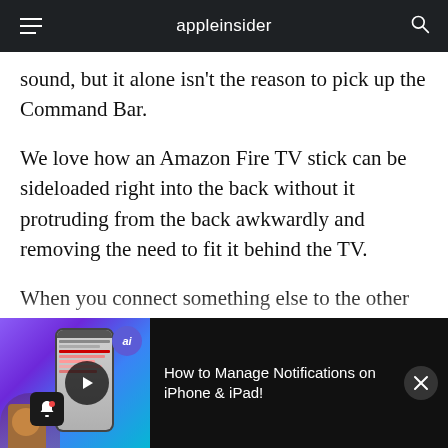appleinsider
sound, but it alone isn't the reason to pick up the Command Bar.
We love how an Amazon Fire TV stick can be sideloaded right into the back without it protruding from the back awkwardly and removing the need to fit it behind the TV.
When you connect something else to the other HDMI slot — say an Apple TV, cable box, or PS4
[Figure (screenshot): Video banner at bottom of screen showing a phone with the AppleInsider app, a play button, an AI badge, and notification icon. Text reads: How to Manage Notifications on iPhone & iPad!]